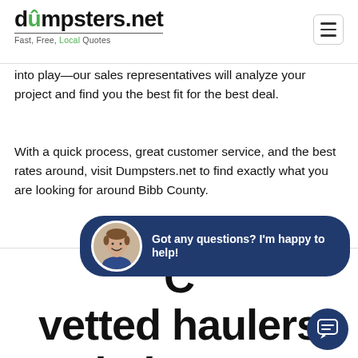dumpsters.net — Fast, Free, Local Quotes
into play—our sales representatives will analyze your project and find you the best fit for the best deal.
With a quick process, great customer service, and the best rates around, visit Dumpsters.net to find exactly what you are looking for around Bibb County.
[Figure (infographic): Chat bubble overlay with avatar photo of smiling man and text: Got any questions? I'm happy to help!]
Compare vetted haulers below to get an instant quote
[Figure (infographic): Round dark blue chat icon button with speech bubble icon in lower right corner]